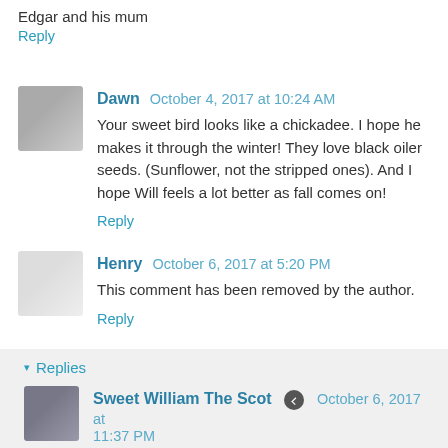Edgar and his mum
Reply
Dawn  October 4, 2017 at 10:24 AM
Your sweet bird looks like a chickadee. I hope he makes it through the winter! They love black oiler seeds. (Sunflower, not the stripped ones). And I hope Will feels a lot better as fall comes on!
Reply
Henry  October 6, 2017 at 5:20 PM
This comment has been removed by the author.
Reply
Replies
Sweet William The Scot  October 6, 2017 at 11:37 PM